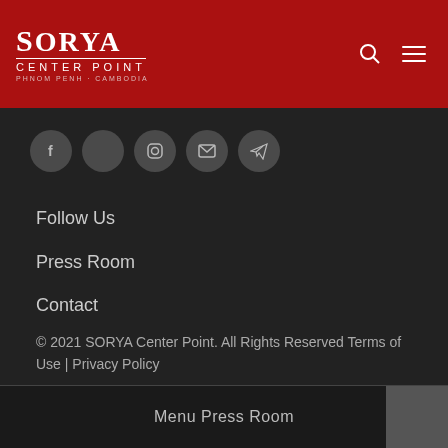SORYA Center Point — PHNOM PENH · CAMBODIA
[Figure (other): Social media icons row: Facebook, YouTube, Instagram, Email, Telegram — dark circular buttons]
Follow Us
Press Room
Contact
© 2021 SORYA Center Point. All Rights Reserved Terms of Use | Privacy Policy
Menu Press Room